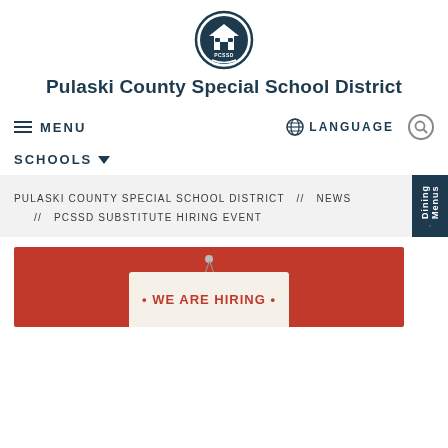[Figure (logo): PCSSD circular school district logo with building icon]
Pulaski County Special School District
≡ MENU    🌐 LANGUAGE   🔍
SCHOOLS ∨
PULASKI COUNTY SPECIAL SCHOOL DISTRICT  //  NEWS  //  PCSSD SUBSTITUTE HIRING EVENT
[Figure (screenshot): Red background hiring sign image with WE ARE HIRING text on a sign]